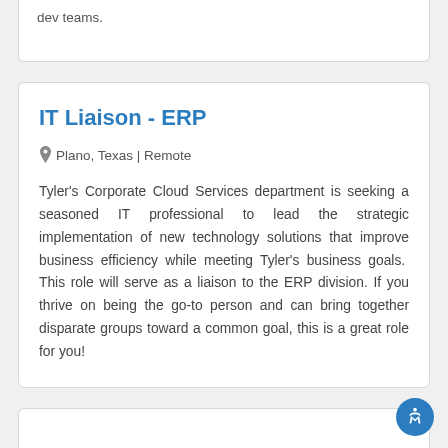dev teams.
IT Liaison - ERP
Plano, Texas | Remote
Tyler's Corporate Cloud Services department is seeking a seasoned IT professional to lead the strategic implementation of new technology solutions that improve business efficiency while meeting Tyler's business goals.  This role will serve as a liaison to the ERP division. If you thrive on being the go-to person and can bring together disparate groups toward a common goal, this is a great role for you!